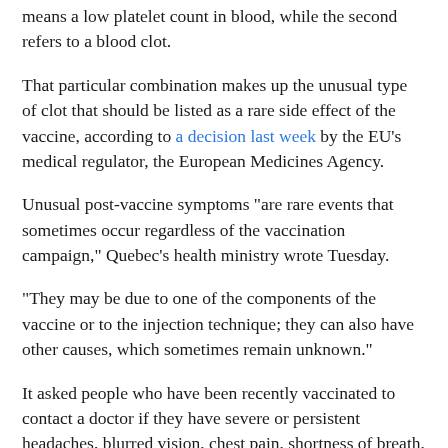means a low platelet count in blood, while the second refers to a blood clot.
That particular combination makes up the unusual type of clot that should be listed as a rare side effect of the vaccine, according to a decision last week by the EU's medical regulator, the European Medicines Agency.
Unusual post-vaccine symptoms "are rare events that sometimes occur regardless of the vaccination campaign," Quebec's health ministry wrote Tuesday.
"They may be due to one of the components of the vaccine or to the injection technique; they can also have other causes, which sometimes remain unknown."
It asked people who have been recently vaccinated to contact a doctor if they have severe or persistent headaches, blurred vision, chest pain, shortness of breath, leg swelling, cold limbs, persistent abdominal pain, or skin